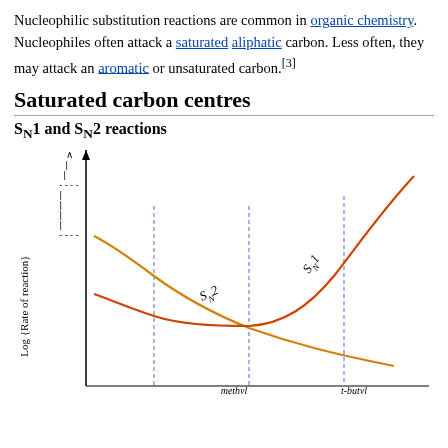Nucleophilic substitution reactions are common in organic chemistry. Nucleophiles often attack a saturated aliphatic carbon. Less often, they may attack an aromatic or unsaturated carbon.[3]
Saturated carbon centres
SN1 and SN2 reactions
[Figure (continuous-plot): Graph showing Log (Rate of reaction) on the y-axis versus substrate type on the x-axis. Two curves are shown: SN2 (orange/yellow, decreasing from left to right) and SN1 (red/orange, increasing from left to right, rising steeply). Blue dotted vertical lines mark specific substrate positions. Labels SN2 and SN1 appear on respective curves. X-axis labels partially visible: methyl, t-butyl.]